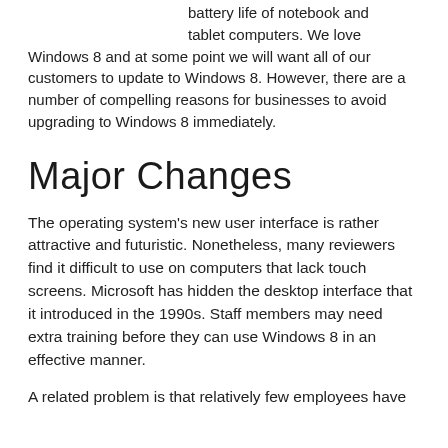battery life of notebook and tablet computers. We love Windows 8 and at some point we will want all of our customers to update to Windows 8. However, there are a number of compelling reasons for businesses to avoid upgrading to Windows 8 immediately.
Major Changes
The operating system's new user interface is rather attractive and futuristic. Nonetheless, many reviewers find it difficult to use on computers that lack touch screens. Microsoft has hidden the desktop interface that it introduced in the 1990s. Staff members may need extra training before they can use Windows 8 in an effective manner.
A related problem is that relatively few employees have